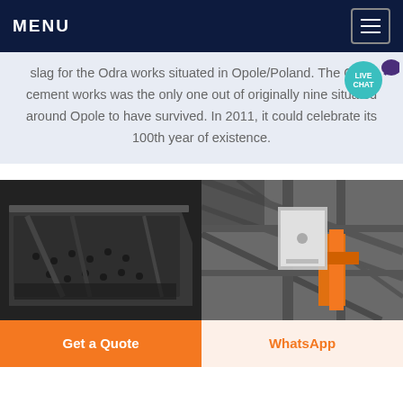MENU
slag for the Odra works situated in Opole/Poland. The Odra cement works was the only one out of originally nine situated around Opole to have survived. In 2011, it could celebrate its 100th year of existence.
[Figure (photo): Two industrial photos side by side showing cement works equipment: left photo shows a dark metal industrial trough or mill with perforations and wear marks; right photo shows a structural metal framework with orange-colored machinery components inside a plant.]
Get a Quote
WhatsApp